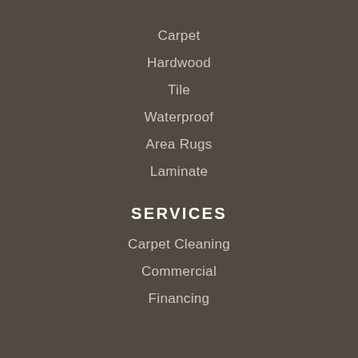Carpet
Hardwood
Tile
Waterproof
Area Rugs
Laminate
SERVICES
Carpet Cleaning
Commercial
Financing